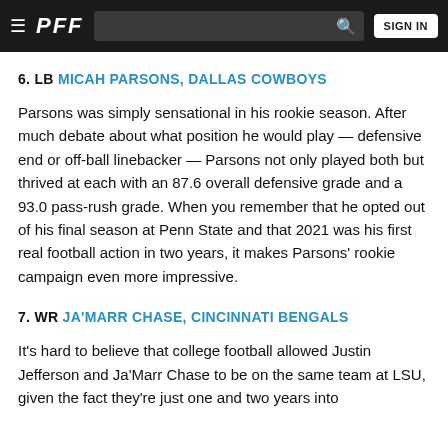PFF | SIGN IN
6. LB MICAH PARSONS, DALLAS COWBOYS
Parsons was simply sensational in his rookie season. After much debate about what position he would play — defensive end or off-ball linebacker — Parsons not only played both but thrived at each with an 87.6 overall defensive grade and a 93.0 pass-rush grade. When you remember that he opted out of his final season at Penn State and that 2021 was his first real football action in two years, it makes Parsons' rookie campaign even more impressive.
7. WR JA'MARR CHASE, CINCINNATI BENGALS
It's hard to believe that college football allowed Justin Jefferson and Ja'Marr Chase to be on the same team at LSU, given the fact they're just one and two years into...